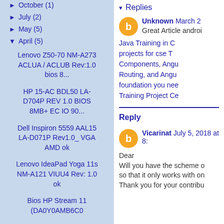► October (1)
► July (2)
► May (5)
▼ April (5)
Lenovo Z50-70 NM-A273 ACLUA / ACLUB Rev:1.0 bios 8...
HP 15-AC BDL50 LA-D704P REV 1.0 BIOS 8MB+ EC IO 90...
Dell Inspiron 5559 AAL15 LA-D071P Rev1.0_ VGA AMD ok
Lenovo IdeaPad Yoga 11s NM-A121 VIUU4 Rev: 1.0 ok
Bios HP Stream 11 (DA0Y0AMB6C0
▾ Replies
Unknown March 2
Great Article androi
Java Training in C projects for cse T Components, Angu Routing, and Angu foundation you nee Training Project Ce
Reply
Vicarinat July 5, 2018 at 8:
Dear
Will you have the scheme o so that it only works with on Thank you for your contribu